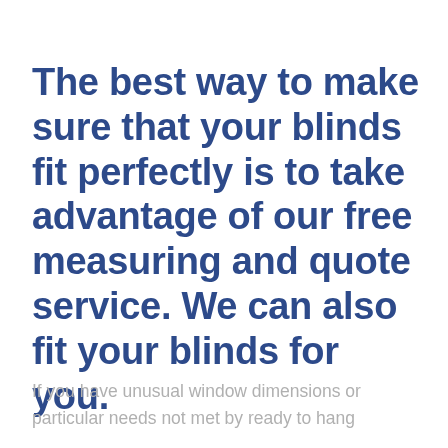The best way to make sure that your blinds fit perfectly is to take advantage of our free measuring and quote service. We can also fit your blinds for you.
If you have unusual window dimensions or particular needs not met by ready to hang